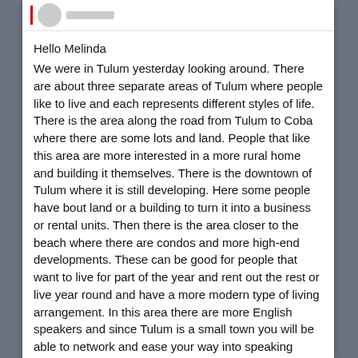Hello Melinda
We were in Tulum yesterday looking around. There are about three separate areas of Tulum where people like to live and each represents different styles of life. There is the area along the road from Tulum to Coba where there are some lots and land. People that like this area are more interested in a more rural home and building it themselves. There is the downtown of Tulum where it is still developing. Here some people have bout land or a building to turn it into a business or rental units. Then there is the area closer to the beach where there are condos and more high-end developments. These can be good for people that want to live for part of the year and rent out the rest or live year round and have a more modern type of living arrangement. In this area there are more English speakers and since Tulum is a small town you will be able to network and ease your way into speaking Spanish. We will email you with